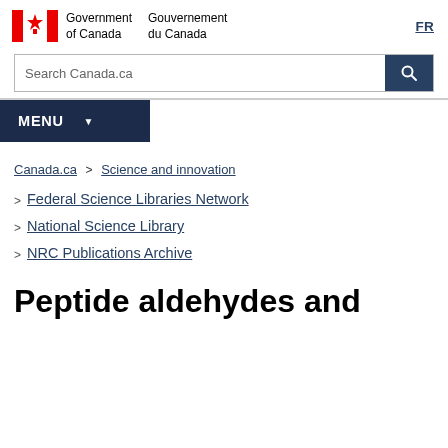Government of Canada / Gouvernement du Canada | FR
Search Canada.ca
MENU
Canada.ca > Science and innovation > Federal Science Libraries Network > National Science Library > NRC Publications Archive
Peptide aldehydes and